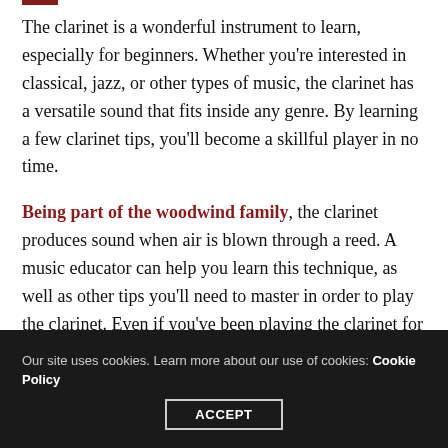The clarinet is a wonderful instrument to learn, especially for beginners. Whether you’re interested in classical, jazz, or other types of music, the clarinet has a versatile sound that fits inside any genre. By learning a few clarinet tips, you’ll become a skillful player in no time.
Being part of the woodwind family, the clarinet produces sound when air is blown through a reed. A music educator can help you learn this technique, as well as other tips you’ll need to master in order to play the clarinet. Even if you've been playing the clarinet for years, brushing up on these clarinet tips will help you get more from your instrument.
Our site uses cookies. Learn more about our use of cookies: Cookie Policy   ACCEPT